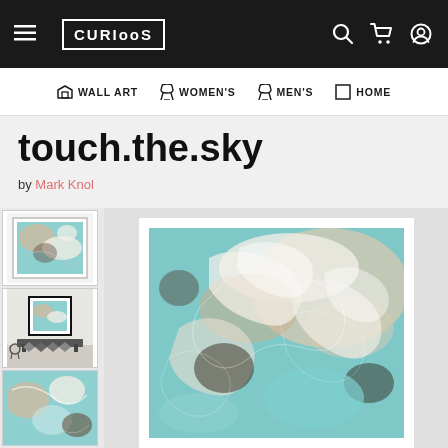CURIOOS — Wall Art, Women's, Men's, Home navigation
touch.the.sky
by Mark Knol
[Figure (photo): Abstract artwork showing swirling teal, beige, white and dark brushstroke textures. Shown as thumbnail, framed room mockup, and close-up detail views alongside a large main product image.]